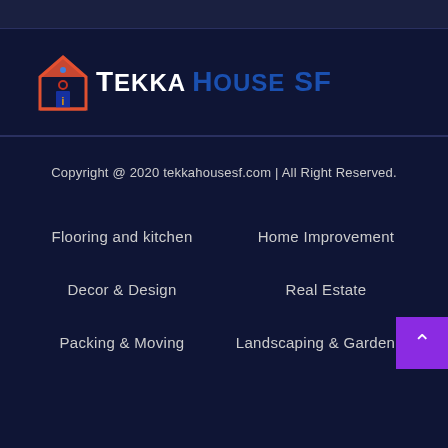[Figure (logo): Tekka House SF logo with house icon in orange/red and blue colors, company name in white (Tekka) and blue (House SF)]
Copyright @ 2020 tekkahousesf.com | All Right Reserved.
Flooring and kitchen
Home Improvement
Decor & Design
Real Estate
Packing & Moving
Landscaping & Gardening